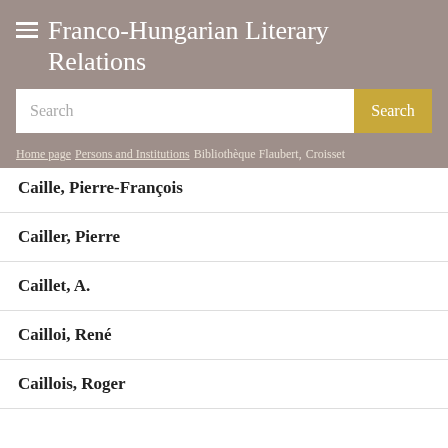Franco-Hungarian Literary Relations
Search
Home page | Persons and Institutions | Bibliothèque Flaubert, Croisset
Caille, Pierre-François
Cailler, Pierre
Caillet, A.
Cailloi, René
Caillois, Roger